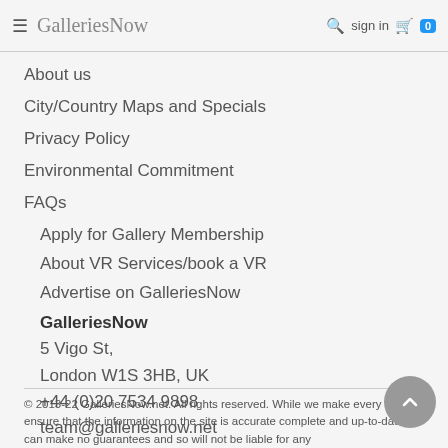GalleriesNow — sign in 0
About us
City/Country Maps and Specials
Privacy Policy
Environmental Commitment
FAQs
Apply for Gallery Membership
About VR Services/book a VR
Advertise on GalleriesNow
GalleriesNow
5 Vigo St,
London W1S 3HB, UK
+44 (0)20 7534 9898
team@galleriesnow.net
© 2013-22 GalleriesNow.net. All rights reserved. While we make every effort to ensure that the information on the site is accurate complete and up-to-date we can make no guarantees and so will not be liable for any